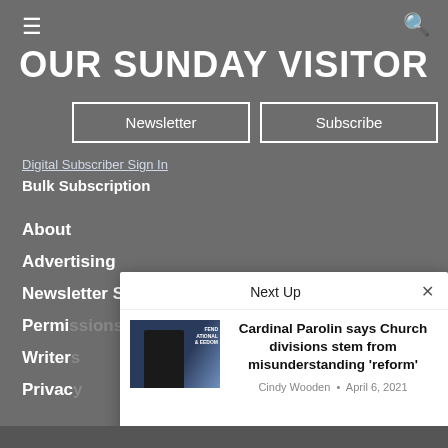OUR SUNDAY VISITOR
Newsletter
Subscribe
Digital Subscriber Sign In
Bulk Subscription
About
Advertising
Newsletter Signup
Permi...
Writer...
Privac...
[Figure (screenshot): Next Up overlay panel showing article preview for Cardinal Parolin story with thumbnail image]
Cardinal Parolin says Church divisions stem from misunderstanding ‘reform’
Cindy Wooden • April 6, 2021